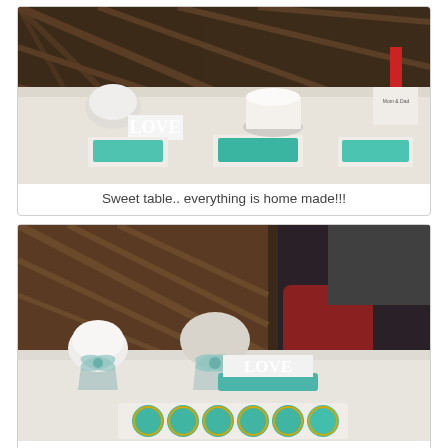[Figure (photo): A decorated sweet table with a white tablecloth. Features a 'LOVE' wooden sign, white carnation flowers in a martini glass, a white cake on a pedestal, teal/turquoise candies and chocolates arranged on trays, and other treats. Dark wooden wine rack visible in the background.]
Sweet table.. everything is home made!!!
[Figure (photo): Close-up of the sweet table showing white carnation flowers in a martini glass with a blue ribbon bow, another arrangement with a blue bow, a white 'LOVE' sign on a teal base, and teal decorated cookies arranged in the foreground.]
I helped decorate those cookies!